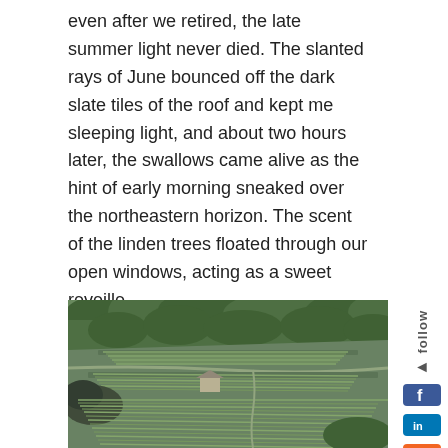even after we retired, the late summer light never died. The slanted rays of June bounced off the dark slate tiles of the roof and kept me sleeping light, and about two hours later, the swallows came alive as the hint of early morning sneaked over the northeastern horizon. The scent of the linden trees floated through our open windows, acting as a sweet reveille.
[Figure (photo): Aerial or hillside view of terraced vineyard rows on a steep green hillside, with dense forest surrounding the cultivated slopes and a small building visible among the vines.]